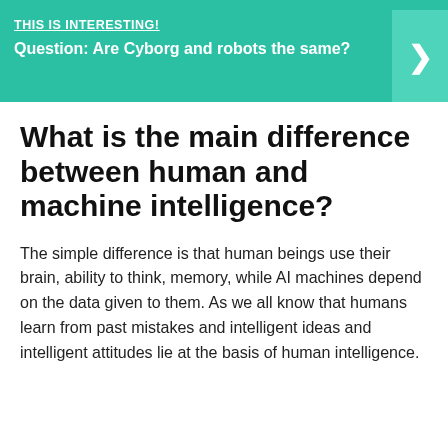THIS IS INTERESTING!
Question: Are Cyborg and robots the same?
What is the main difference between human and machine intelligence?
The simple difference is that human beings use their brain, ability to think, memory, while AI machines depend on the data given to them. As we all know that humans learn from past mistakes and intelligent ideas and intelligent attitudes lie at the basis of human intelligence.